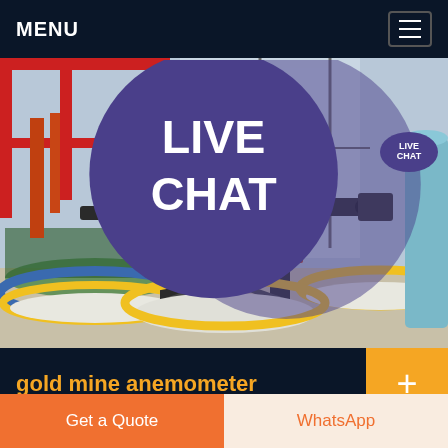MENU
[Figure (photo): Industrial gold mine processing equipment — a large black metal centrifugal separator machine mounted on a steel frame, surrounded by circular mineral separation bowls with yellow and blue rims filled with white gravel/crushed material. Factory/warehouse interior with windows in background, red structural steel overhead.]
gold mine anemometer
Coal Mine Anemometer Explosive Proof Germany ore mine anemometer explosive proof . coal mine anemometer explosive proof
Get a Quote
WhatsApp